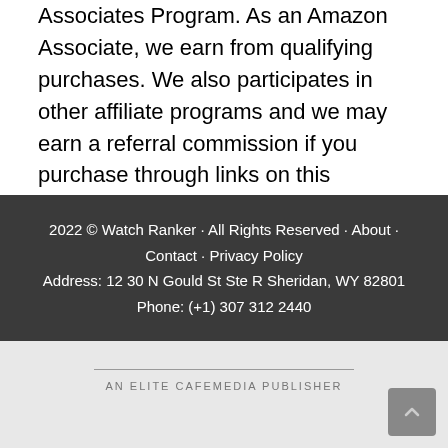Associates Program. As an Amazon Associate, we earn from qualifying purchases. We also participates in other affiliate programs and we may earn a referral commission if you purchase through links on this website.
2022 © Watch Ranker · All Rights Reserved · About · Contact · Privacy Policy
Address: 12 30 N Gould St Ste R Sheridan, WY 82801
Phone: (+1) 307 312 2440
AN ELITE CAFEMEDIA PUBLISHER